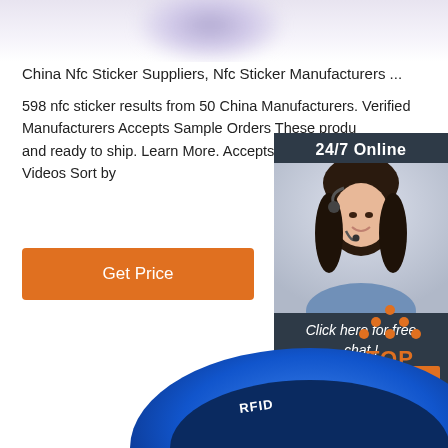[Figure (photo): Blurry purple/lavender blob at top of page, partial product image]
China Nfc Sticker Suppliers, Nfc Sticker Manufacturers ...
598 nfc sticker results from 50 China Manufacturers. Verified Manufacturers Accepts Sample Orders These products are certified and ready to ship. Learn More. Accepts Direct Orders Accepts Videos Sort by
[Figure (other): Orange 'Get Price' button]
[Figure (photo): Chat widget: dark background with '24/7 Online' header, photo of woman with headset smiling, 'Click here for free chat!' text and orange QUOTATION button]
[Figure (logo): TOP icon with orange dots arranged in triangle and orange 'TOP' text]
[Figure (photo): Blue RFID wristband product image at bottom of page]